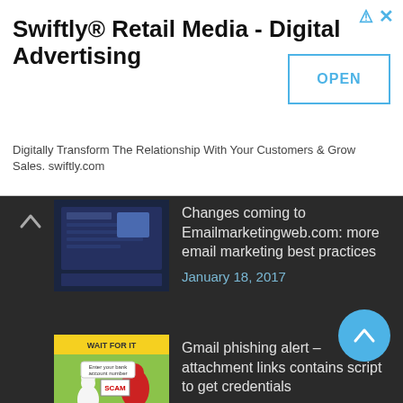Swiftly® Retail Media - Digital Advertising
Digitally Transform The Relationship With Your Customers & Grow Sales. swiftly.com
[Figure (screenshot): OPEN button for Swiftly ad]
Changes coming to Emailmarketingweb.com: more email marketing best practices
January 18, 2017
Gmail phishing alert – attachment links contains script to get credentials
January 16, 2017
Campaign Monitor Email Builder updated, fully supports Gmail
September 7, 2016
Boomerang Respondable: write better emails using A.I.